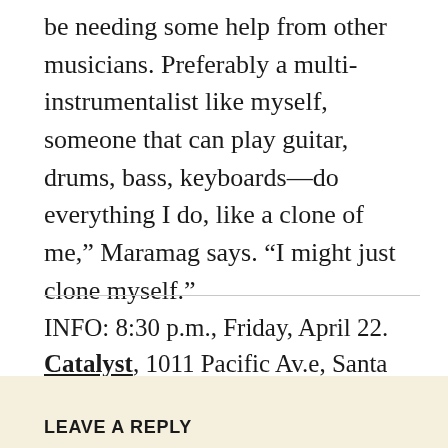be needing some help from other musicians. Preferably a multi-instrumentalist like myself, someone that can play guitar, drums, bass, keyboards—do everything I do, like a clone of me,” Maramag says. “I might just clone myself.”
INFO: 8:30 p.m., Friday, April 22. Catalyst, 1011 Pacific Av.e, Santa Cruz, $12/Adv, $15/Door. 429-4135.
LEAVE A REPLY